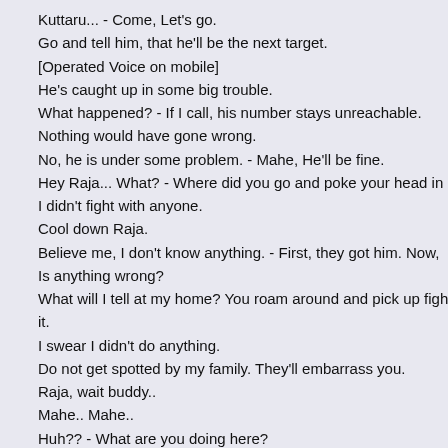Kuttaru... - Come, Let's go.
Go and tell him, that he'll be the next target.
[Operated Voice on mobile]
He's caught up in some big trouble.
What happened? - If I call, his number stays unreachable.
Nothing would have gone wrong.
No, he is under some problem. - Mahe, He'll be fine.
Hey Raja... What? - Where did you go and poke your head in
I didn't fight with anyone.
Cool down Raja.
Believe me, I don't know anything. - First, they got him. Now,
Is anything wrong?
What will I tell at my home? You roam around and pick up figh
it.
I swear I didn't do anything.
Do not get spotted by my family. They'll embarrass you.
Raja, wait buddy..
Mahe.. Mahe..
Huh?? - What are you doing here?
Nothing. Was just lying down.
Do not leave at this point. Will you not be coming l??